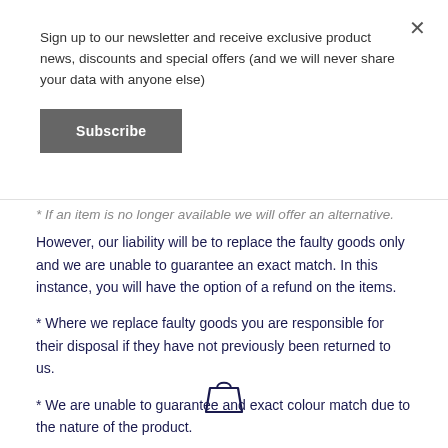Sign up to our newsletter and receive exclusive product news, discounts and special offers (and we will never share your data with anyone else)
Subscribe
* If an item is no longer available we will offer an alternative. However, our liability will be to replace the faulty goods only and we are unable to guarantee an exact match. In this instance, you will have the option of a refund on the items.
* Where we replace faulty goods you are responsible for their disposal if they have not previously been returned to us.
* We are unable to guarantee and exact colour match due to the nature of the product.
[Figure (illustration): Shopping bag icon outline in dark navy/blue color]